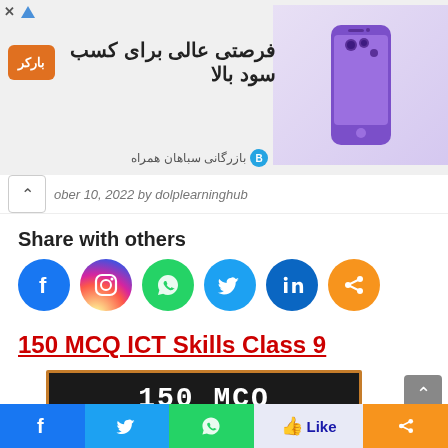[Figure (infographic): Persian-language advertisement banner for 'great opportunity for high income' with orange badge and phone image on right]
ober 10, 2022 by dolplearninghub
Share with others
[Figure (infographic): Social media share icons: Facebook, Instagram, WhatsApp, Twitter, LinkedIn, Share]
150 MCQ ICT Skills Class 9
[Figure (infographic): Book cover image with black background and orange border showing '150 MCQ with Answers ICT SKILLS CLASS-9' in white and gold text on dark background]
[Figure (infographic): Bottom social sharing bar with Facebook, Twitter, WhatsApp, Like, and Share buttons]